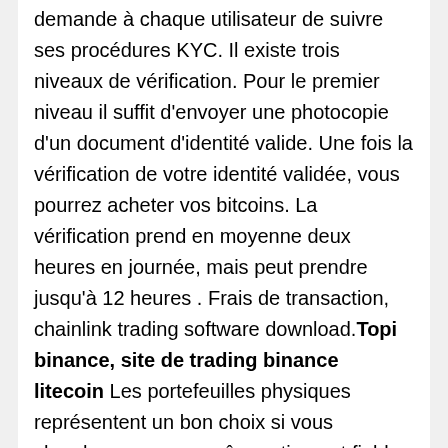demande à chaque utilisateur de suivre ses procédures KYC. Il existe trois niveaux de vérification. Pour le premier niveau il suffit d'envoyer une photocopie d'un document d'identité valide. Une fois la vérification de votre identité validée, vous pourrez acheter vos bitcoins. La vérification prend en moyenne deux heures en journée, mais peut prendre jusqu'à 12 heures . Frais de transaction, chainlink trading software download.Topi binance, site de trading binance litecoin Les portefeuilles physiques représentent un bon choix si vous cherchez un moyen sûr, pratique et fiable de stocker vos Bitcoin et autres cryptomonnaies. Avec les portefeuilles physiques, vos clés privées restent à l'écart des appareils vulnérables connectés à Internet. Vos clés